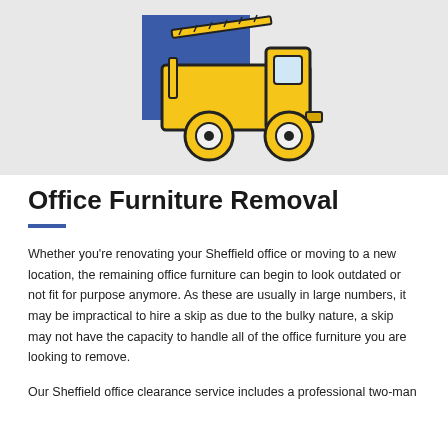[Figure (illustration): Illustration of a yellow removal/crane truck on a blue and grey background]
Office Furniture Removal
Whether you're renovating your Sheffield office or moving to a new location, the remaining office furniture can begin to look outdated or not fit for purpose anymore. As these are usually in large numbers, it may be impractical to hire a skip as due to the bulky nature, a skip may not have the capacity to handle all of the office furniture you are looking to remove.
Our Sheffield office clearance service includes a professional two-man